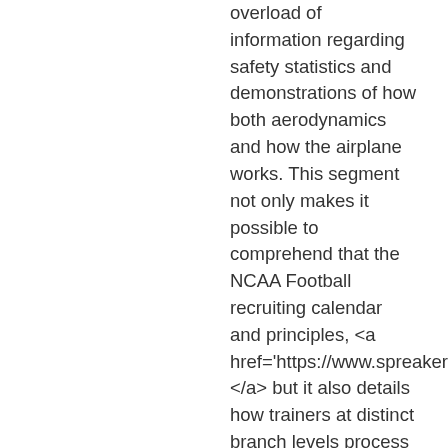overload of information regarding safety statistics and demonstrations of how both aerodynamics and how the airplane works. This segment not only makes it possible to comprehend that the NCAA Football recruiting calendar and principles, <a href='https://www.spreaker.com/user/14967963'>????????</a> but it also details how trainers at distinct branch levels process it. They make it likely for your jersey to be autographed in particular individual because they might be accredited from the official leagues for baseball, hockey, soccer, football and basketball. The on the internet retailers provide you with different possibilities for the buyers to make certain they can find the personally autographed necklace. All signed jerseys are total with exclusive photographs of players registering for the jersey. The 1997 model was the first to incorporate a full